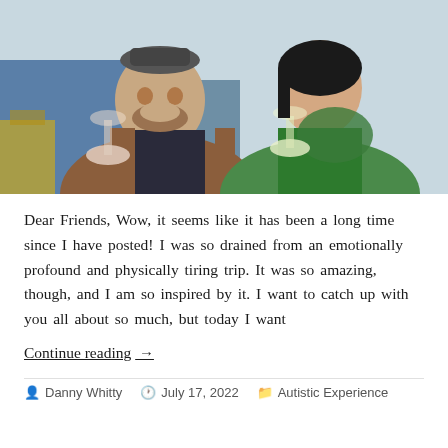[Figure (photo): Two people sitting together holding wine glasses as if toasting. The person on the left is a man wearing a brown jacket and dark patterned shirt, holding a glass of rosé. The person on the right is a woman wearing a green top and colorful scarf, holding a glass of white wine or prosecco. Both are smiling.]
Dear Friends, Wow, it seems like it has been a long time since I have posted! I was so drained from an emotionally profound and physically tiring trip. It was so amazing, though, and I am so inspired by it. I want to catch up with you all about so much, but today I want
Continue reading  →
Danny Whitty   July 17, 2022   Autistic Experience